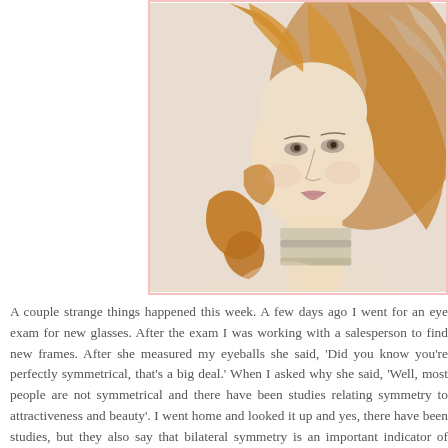[Figure (illustration): A detail from Botticelli's Birth of Venus showing the face and flowing auburn hair of Venus, cropped closeup with a pink border frame. The figure has pale skin, delicate features, and golden-reddish wavy hair flowing to the right. A striped scarf or ribbon is visible at the neck.]
A couple strange things happened this week. A few days ago I went for an eye exam for new glasses. After the exam I was working with a salesperson to find new frames. After she measured my eyeballs she said, 'Did you know you're perfectly symmetrical, that's a big deal.' When I asked why she said, 'Well, most people are not symmetrical and there have been studies relating symmetry to attractiveness and beauty'. I went home and looked it up and yes, there have been studies, but they also say that bilateral symmetry is an important indicator of freedom from parasites and disease. Well, as a child I had scarlet fever, chicken pox: and tonsillitis, and as an adult, allergies and of course, c...